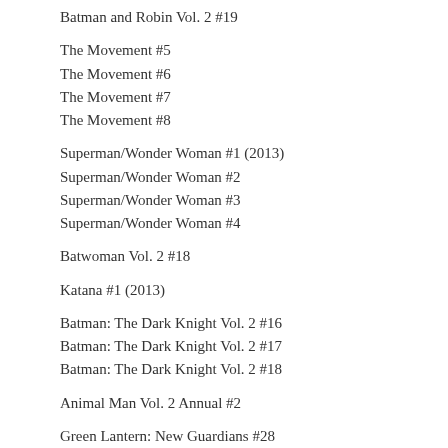Batman and Robin Vol. 2 #19
The Movement #5
The Movement #6
The Movement #7
The Movement #8
Superman/Wonder Woman #1 (2013)
Superman/Wonder Woman #2
Superman/Wonder Woman #3
Superman/Wonder Woman #4
Batwoman Vol. 2 #18
Katana #1 (2013)
Batman: The Dark Knight Vol. 2 #16
Batman: The Dark Knight Vol. 2 #17
Batman: The Dark Knight Vol. 2 #18
Animal Man Vol. 2 Annual #2
Green Lantern: New Guardians #28
Green Lantern: New Guardians #29